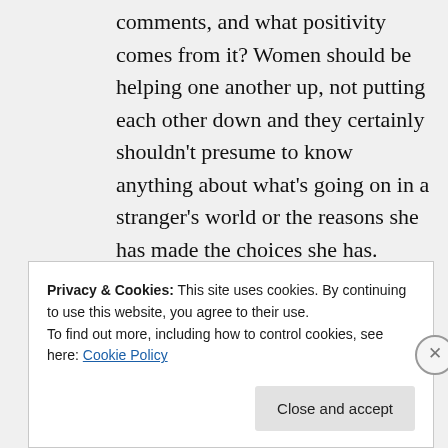comments, and what positivity comes from it? Women should be helping one another up, not putting each other down and they certainly shouldn't presume to know anything about what's going on in a stranger's world or the reasons she has made the choices she has.
★ Like
Privacy & Cookies: This site uses cookies. By continuing to use this website, you agree to their use.
To find out more, including how to control cookies, see here: Cookie Policy
Close and accept